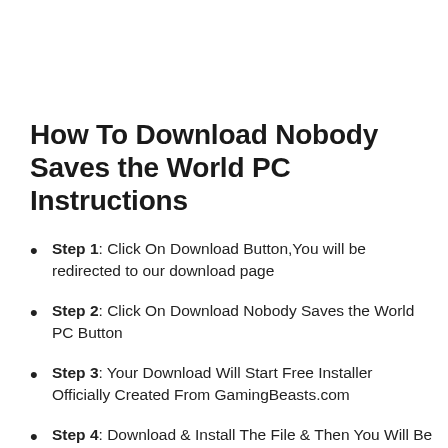How To Download Nobody Saves the World PC Instructions
Step 1: Click On Download Button,You will be redirected to our download page
Step 2: Click On Download Nobody Saves the World PC Button
Step 3: Your Download Will Start Free Installer Officially Created From GamingBeasts.com
Step 4: Download & Install The File & Then You Will Be Able To Install The Game
Step 5: With Good Internet Connection, It Will Be Easy